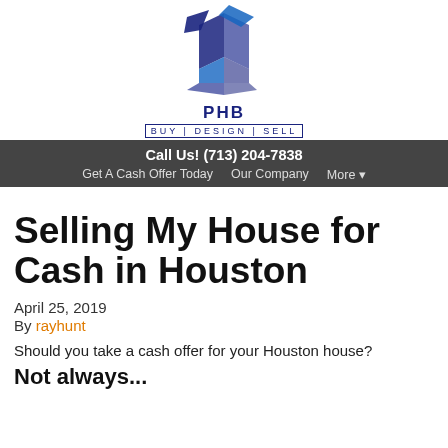[Figure (logo): PHB Buy|Design|Sell logo with blue geometric house/box icon above the text PHB BUY|DESIGN|SELL]
Call Us! (713) 204-7838  Get A Cash Offer Today   Our Company   More ▾
Selling My House for Cash in Houston
April 25, 2019
By rayhunt
Should you take a cash offer for your Houston house?
Not always...